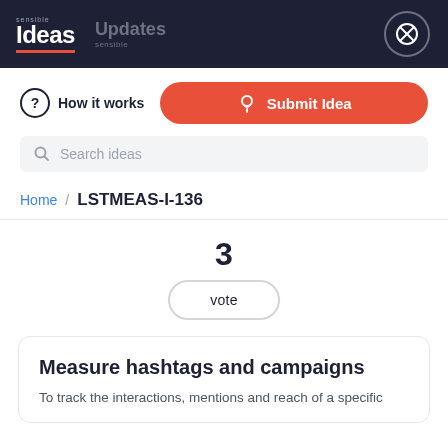sensible Ideas | Updates sensible
How it works
Submit Idea
Search ideas
Home / LSTMEAS-I-136
3
vote
Measure hashtags and campaigns
To track the interactions, mentions and reach of a specific